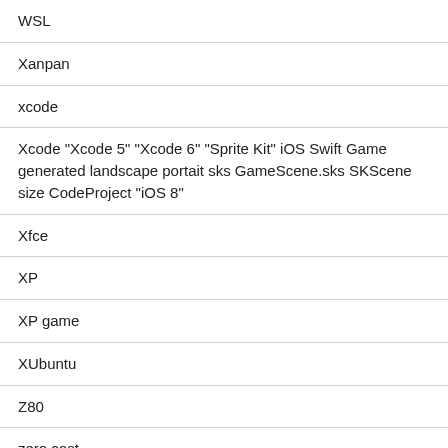WSL
Xanpan
xcode
Xcode "Xcode 5" "Xcode 6" "Sprite Kit" iOS Swift Game generated landscape portait sks GameScene.sks SKScene size CodeProject "iOS 8"
Xfce
XP
XP game
XUbuntu
Z80
zero cost